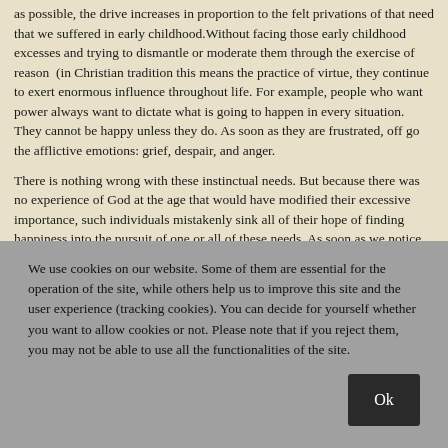as possible, the drive increases in proportion to the felt privations of that need that we suffered in early childhood.Without facing those early childhood excesses and trying to dismantle or moderate them through the exercise of reason  (in Christian tradition this means the practice of virtue, they continue to exert enormous influence throughout life. For example, people who want power always want to dictate what is going to happen in every situation. They cannot be happy unless they do. As soon as they are frustrated, off go the afflictive emotions: grief, despair, and anger.
There is nothing wrong with these instinctual needs. But because there was no experience of God at the age that would have modified their excessive importance, such individuals mistakenly sink all of their hope of finding happiness into the pursuit of one or all of these needs. As soon as we notice we are annoyed or angry about something, we tend to protect ourselves by projecting the cause of our upsetting emotion onto a situation or another person:" They" this to me. "They" are always a problem. But, in fact the real problem is not "them" but us. All biases and prejudices are the attitudes of a child from ages four to eight. If they are present in us, we are still functioning at the level of preadolescent.
Our innocence as children is the innocence of ignorance. Consciousness in
We use cookies on our website. Some of them are essential for the operation of the site, while others help us to improve this site and the user experience (tracking cookies). You can decide for yourself whether you want to allow cookies or not. Please note that if you reject them, you may not be able to use all the functionalities of the site.